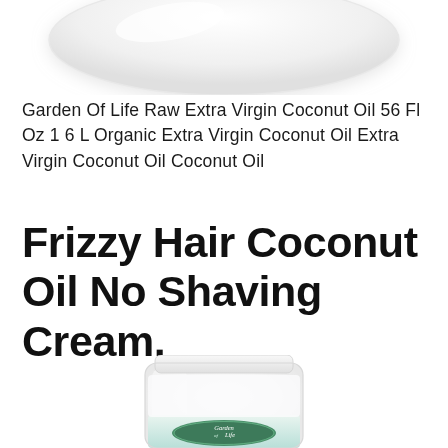[Figure (photo): Bottom portion of a white jar of Garden of Life Raw Extra Virgin Coconut Oil, showing the curved base of the jar against a white background]
Garden Of Life Raw Extra Virgin Coconut Oil 56 Fl Oz 1 6 L Organic Extra Virgin Coconut Oil Extra Virgin Coconut Oil Coconut Oil
Frizzy Hair Coconut Oil No Shaving Cream.
[Figure (photo): A clear/white jar of Garden of Life coconut oil with a white lid, showing the Garden of Life logo label with a teal/blue band at the bottom of the label. The jar contains white solidified coconut oil.]